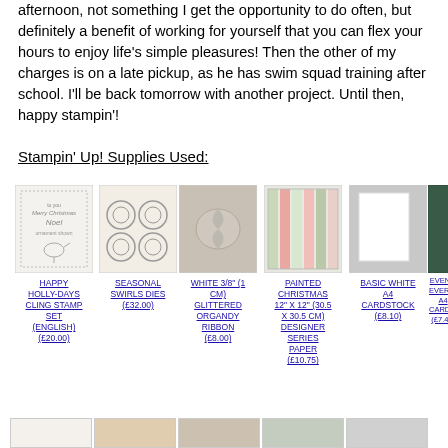afternoon, not something I get the opportunity to do often, but definitely a benefit of working for yourself that you can flex your hours to enjoy life's simple pleasures! Then the other of my charges is on a late pickup, as he has swim squad training after school. I'll be back tomorrow with another project. Until then, happy stampin'!
Stampin' Up! Supplies Used:
[Figure (photo): Happy Holly-Days Cling Stamp Set product image]
HAPPY HOLLY-DAYS CLING STAMP SET (ENGLISH) (£20.00)
[Figure (photo): Seasonal Swirls Dies product image]
SEASONAL SWIRLS DIES (£32.00)
[Figure (photo): White 3/8" (1 CM) Glittered Organdy Ribbon product image]
WHITE 3/8" (1 CM) GLITTERED ORGANDY RIBBON (£8.00)
[Figure (photo): Painted Christmas 12" x 12" (30.5 x 30.5 CM) Designer Series Paper product image]
PAINTED CHRISTMAS 12" X 12" (30.5 X 30.5 CM) DESIGNER SERIES PAPER (£10.75)
[Figure (photo): Basic White A4 Cardstock product image]
BASIC WHITE A4 CARDSTOCK (£8.10)
[Figure (photo): Evergreen A4 Cardstock product image (partially visible)]
EVERG... EVERG... A4 CARDS... (£7.4...